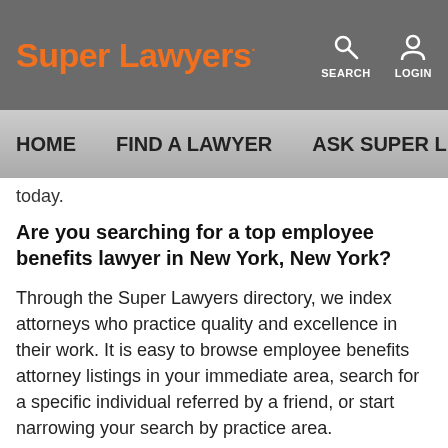Super Lawyers
SEARCH LOGIN
HOME   FIND A LAWYER   ASK SUPER L…
today.
Are you searching for a top employee benefits lawyer in New York, New York?
Through the Super Lawyers directory, we index attorneys who practice quality and excellence in their work. It is easy to browse employee benefits attorney listings in your immediate area, search for a specific individual referred by a friend, or start narrowing your search by practice area.
When you find attorneys who interest you, spend time and explore their profiles. There you will find the employee benefits attorney's contact, education, and biographical information to supplement your research. Where possible,